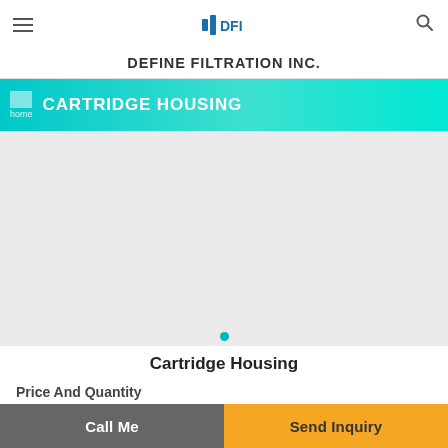DEFINE FILTRATION INC.
CARTRIDGE HOUSING
[Figure (photo): Product image area for Cartridge Housing (image not loaded, grey placeholder)]
Cartridge Housing
Price And Quantity
Call Me | Send Inquiry